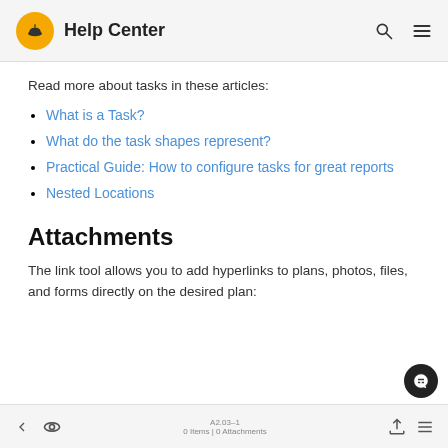Help Center
Read more about tasks in these articles:
What is a Task?
What do the task shapes represent?
Practical Guide: How to configure tasks for great reports
Nested Locations
Attachments
The link tool allows you to add hyperlinks to plans, photos, files, and forms directly on the desired plan:
A2.03-1 0 Items | 0 Attachments